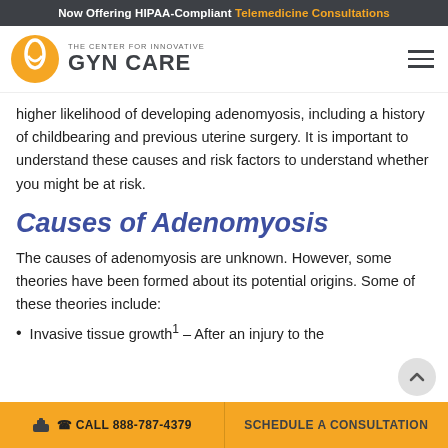Now Offering HIPAA-Compliant Telemedicine Consultations
[Figure (logo): The Center for Innovative GYN CARE logo with yellow circular icon and text]
higher likelihood of developing adenomyosis, including a history of childbearing and previous uterine surgery. It is important to understand these causes and risk factors to understand whether you might be at risk.
Causes of Adenomyosis
The causes of adenomyosis are unknown. However, some theories have been formed about its potential origins. Some of these theories include:
Invasive tissue growth¹ – After an injury to the
CALL 888-787-4379   SCHEDULE A CONSULTATION